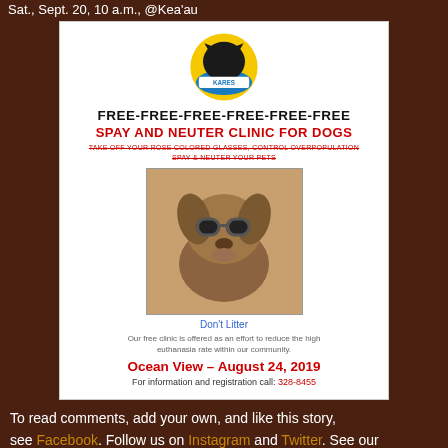Sat., Sept. 20, 10 a.m., @Kea'au
[Figure (infographic): KARES organization flyer for a free spay and neuter clinic for dogs in Ocean View on August 24, 2019. Contains KARES logo, bold text FREE-FREE-FREE-FREE-FREE-FREE, a photo of a chihuahua wearing sunglasses, and contact information.]
To read comments, add your own, and like this story, see Facebook. Follow us on Instagram and Twitter. See our online calendars and our latest print edition at kaucalendar.com.